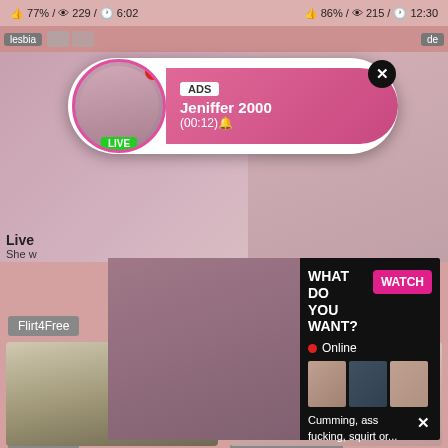77% / 229 / 6:02   86% / 215 / 12:30
lesbia   de
[Figure (screenshot): Notification popup with avatar, LIVE badge, ADS label, name Jeniffer 2000, time (00:12), close button]
ADS
Jeniffer 2000
(00:12)
[Figure (screenshot): Ad popup: WHAT DO YOU WANT? with WATCH button, Online indicator, thumbnail images, text: Cumming, ass fucking, squirt or... ADS]
WHAT DO YOU WANT?
WATCH
Online
Cumming, ass fucking, squirt or...
• ADS
Live
She w
Flirt4Free
Free Sex Hookup
[Figure (photo): Bottom left thumbnail photo]
[Figure (photo): Bottom right thumbnail photo]